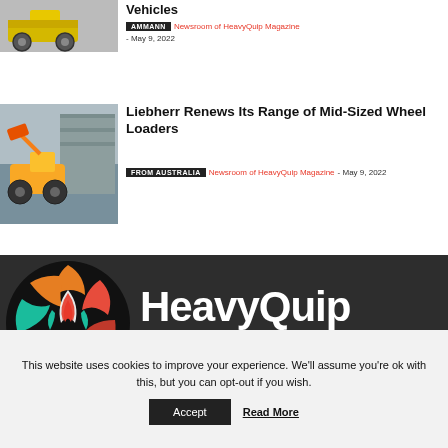[Figure (photo): Road roller / compaction vehicle, yellow, on white background]
Vehicles
AMMANN   Newsroom of HeavyQuip Magazine - May 9, 2022
[Figure (photo): Liebherr yellow wheel loader working in a yard with concrete barriers]
Liebherr Renews Its Range of Mid-Sized Wheel Loaders
FROM AUSTRALIA   Newsroom of HeavyQuip Magazine - May 9, 2022
[Figure (logo): HeavyQuip Magazine logo — circular flame/gear icon in orange, red, teal on black background, with HeavyQuip wordmark in white]
This website uses cookies to improve your experience. We'll assume you're ok with this, but you can opt-out if you wish.
Accept   Read More